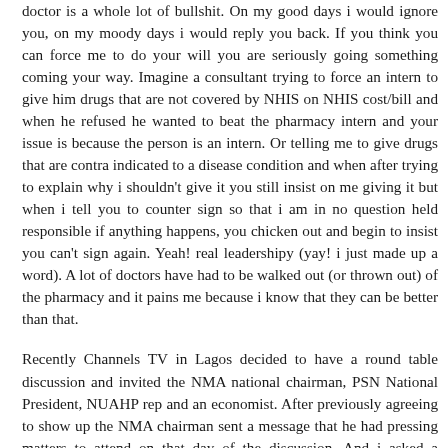doctor is a whole lot of bullshit. On my good days i would ignore you, on my moody days i would reply you back. If you think you can force me to do your will you are seriously going something coming your way. Imagine a consultant trying to force an intern to give him drugs that are not covered by NHIS on NHIS cost/bill and when he refused he wanted to beat the pharmacy intern and your issue is because the person is an intern. Or telling me to give drugs that are contra indicated to a disease condition and when after trying to explain why i shouldn't give it you still insist on me giving it but when i tell you to counter sign so that i am in no question held responsible if anything happens, you chicken out and begin to insist you can't sign again. Yeah! real leadershipy (yay! i just made up a word). A lot of doctors have had to be walked out (or thrown out) of the pharmacy and it pains me because i know that they can be better than that.
Recently Channels TV in Lagos decided to have a round table discussion and invited the NMA national chairman, PSN National President, NUAHP rep and an economist. After previously agreeing to show up the NMA chairman sent a message that he had pressing matters to attend on that day of the discussion. And i asked a question 'what pressing matters did he have that day? why